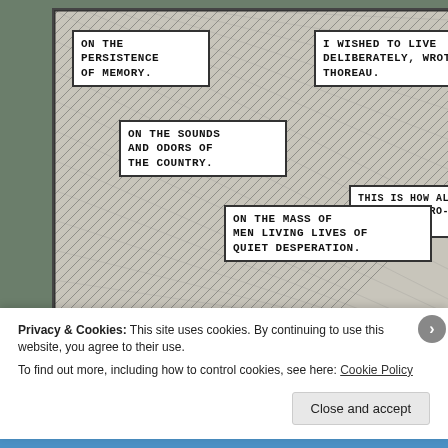[Figure (illustration): Comic panel with hatched swirling background lines and multiple caption boxes containing text about 'On the Persistence of Memory', 'I Wished to Live Deliberately, Wrote Thoreau', 'On the Sounds and Odors of the Country', 'This is How Al- Derleth Intro- His Book', and 'On the Mass of Men Living Lives of Quiet Desperation']
Privacy & Cookies: This site uses cookies. By continuing to use this website, you agree to their use.
To find out more, including how to control cookies, see here: Cookie Policy
Close and accept